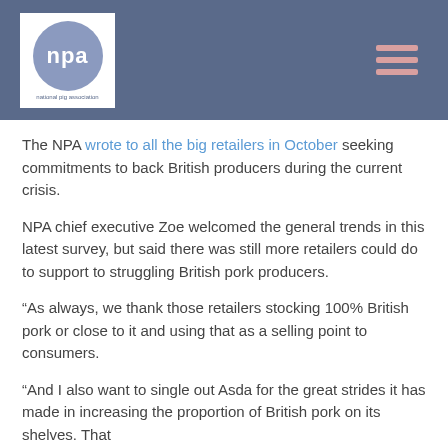[Figure (logo): NPA (National Pig Association) logo — blue-grey circle with 'npa' in white text, on white background, set within a dark blue-grey header bar with hamburger menu icon on the right]
The NPA wrote to all the big retailers in October seeking commitments to back British producers during the current crisis.
NPA chief executive Zoe welcomed the general trends in this latest survey, but said there was still more retailers could do to support to struggling British pork producers.
“As always, we thank those retailers stocking 100% British pork or close to it and using that as a selling point to consumers.
“And I also want to single out Asda for the great strides it has made in increasing the proportion of British pork on its shelves. That